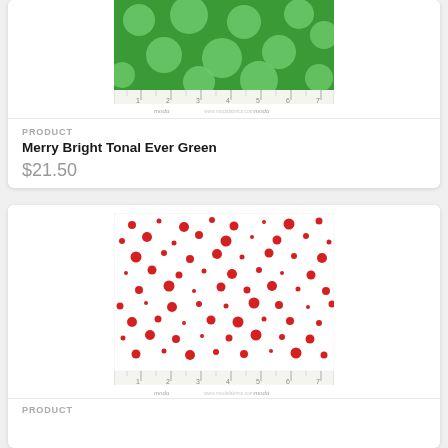[Figure (photo): Green fabric with large light green polka dots, shown with a ruler at the bottom branded 'moda']
PRODUCT
Merry Bright Tonal Ever Green
$21.50
[Figure (photo): White fabric with scattered red polka dots of various sizes, shown with a ruler at the bottom branded 'moda']
PRODUCT